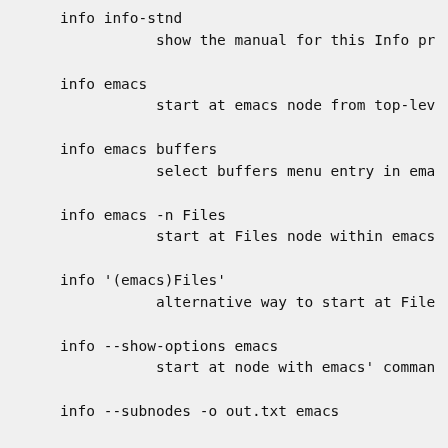info info-stnd
        show the manual for this Info pr
info emacs
        start at emacs node from top-lev
info emacs buffers
        select buffers menu entry in ema
info emacs -n Files
        start at Files node within emacs
info '(emacs)Files'
        alternative way to start at File
info --show-options emacs
        start at node with emacs' comman
info --subnodes -o out.txt emacs